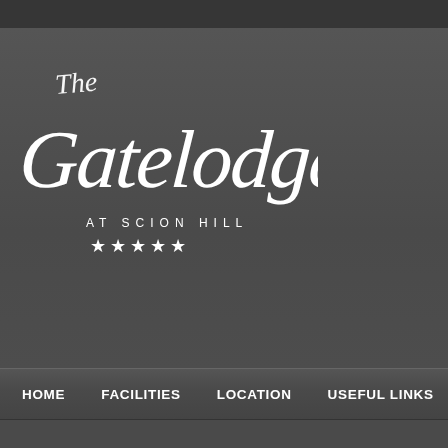[Figure (logo): The Gatelodge at Scion Hill script logo with five stars, white text on dark grey background]
HOME   FACILITIES   LOCATION   USEFUL LINKS   GALLE...